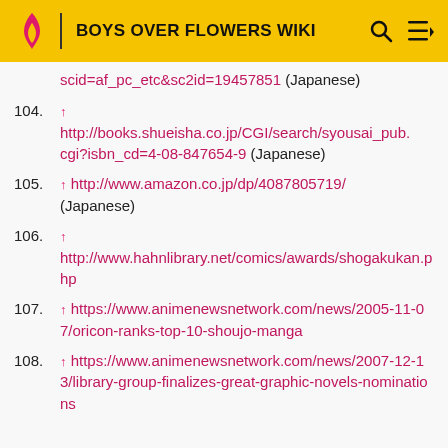BOYS OVER FLOWERS WIKI
scid=af_pc_etc&sc2id=19457851 (Japanese)
104. ↑ http://books.shueisha.co.jp/CGI/search/syousai_pub.cgi?isbn_cd=4-08-847654-9 (Japanese)
105. ↑ http://www.amazon.co.jp/dp/4087805719/ (Japanese)
106. ↑ http://www.hahnlibrary.net/comics/awards/shogakukan.php
107. ↑ https://www.animenewsnetwork.com/news/2005-11-07/oricon-ranks-top-10-shoujo-manga
108. ↑ https://www.animenewsnetwork.com/news/2007-12-13/library-group-finalizes-great-graphic-novels-nominations